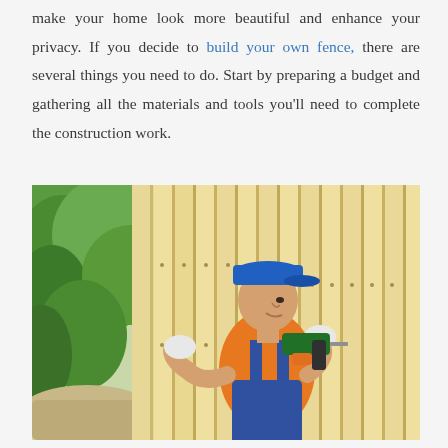make your home look more beautiful and enhance your privacy. If you decide to build your own fence, there are several things you need to do. Start by preparing a budget and gathering all the materials and tools you'll need to complete the construction work.
[Figure (photo): A man wearing an orange t-shirt, blue overalls, a blue cap, and white gloves using a power drill to install wooden fence boards. Green foliage is visible in the background on the left side.]